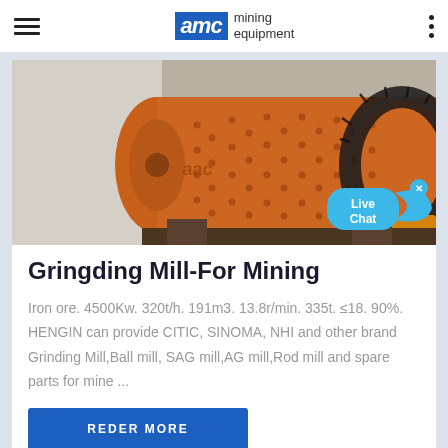AMC mining equipment
[Figure (photo): Ball mill / grinding mill industrial mining equipment — large orange cylindrical drum with gear ring, used for ore grinding]
Gringding Mill-For Mining
Iron ore. 4500Kw. 320t/h. 191m3. 13.8r/min. 335t. ≤18.90%. HENGIN can provide CITIC, SINOMA, NHI and other brand Grinding Mill,Ball mill, SAG mill,AG mill,Rod mill and spare parts for mine ...
REDER MORE